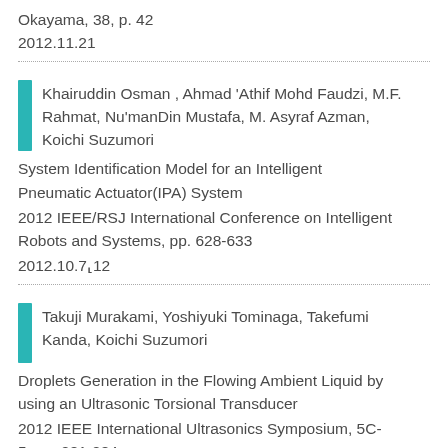Okayama, 38, p. 42
2012.11.21
Khairuddin Osman , Ahmad 'Athif Mohd Faudzi, M.F. Rahmat, Nu'manDin Mustafa, M. Asyraf Azman, Koichi Suzumori
System Identification Model for an Intelligent Pneumatic Actuator(IPA) System
2012 IEEE/RSJ International Conference on Intelligent Robots and Systems, pp. 628-633
2012.10.7‑12
Takuji Murakami, Yoshiyuki Tominaga, Takefumi Kanda, Koichi Suzumori
Droplets Generation in the Flowing Ambient Liquid by using an Ultrasonic Torsional Transducer
2012 IEEE International Ultrasonics Symposium, 5C-5, pp. 281-284